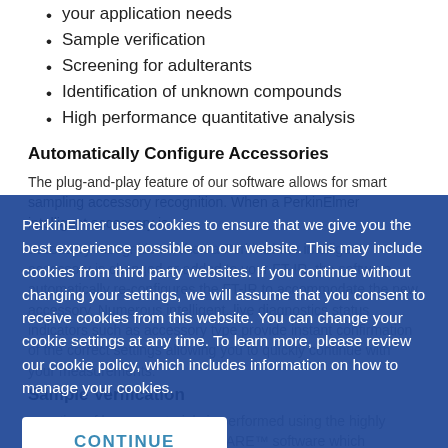your application needs
Sample verification
Screening for adulterants
Identification of unknown compounds
High performance quantitative analysis
Automatically Configure Accessories
The plug-and-play feature of our software allows for smart sampling accessory recognition. When a PerkinElmer intelligent accessory is changed or added to your FT-IR, the software automatically re-configures the FT-IR to accommodate the new accessory. Numerous intelligent, live diagnostics status indicators such as accessory type provide instant confirmation of the correct settings allowing you to quickly continue with your measurements.
Sample Verification
...ation of known materials is performed using the highly popular and acclaimed COMPARE™ software which includes ...minimize effects of sampling variations ...n to improve accuracy and robustness of results. In addition, the Verify command can be used where known sample variability needs to be modelled using SIMCA (Soft
PerkinElmer uses cookies to ensure that we give you the best experience possible on our website. This may include cookies from third party websites. If you continue without changing your settings, we will assume that you consent to receive cookies from this website. You can change your cookie settings at any time. To learn more, please review our cookie policy, which includes information on how to manage your cookies.